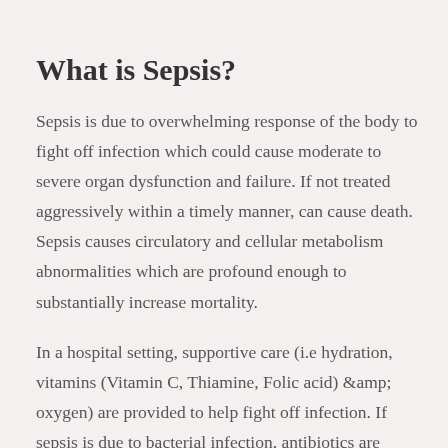What is Sepsis?
Sepsis is due to overwhelming response of the body to fight off infection which could cause moderate to severe organ dysfunction and failure. If not treated aggressively within a timely manner, can cause death. Sepsis causes circulatory and cellular metabolism abnormalities which are profound enough to substantially increase mortality.
In a hospital setting, supportive care (i.e hydration, vitamins (Vitamin C, Thiamine, Folic acid) &amp; oxygen) are provided to help fight off infection. If sepsis is due to bacterial infection, antibiotics are added to the supportive care, but if it is due to viral infection (Corona virus, influenza and other viral infections) only supportive care is